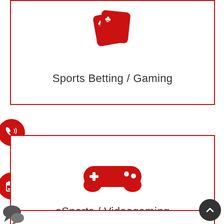[Figure (infographic): Sports Betting / Gaming card with playing cards icon (red) at top and label text at bottom, bordered in red]
Sports Betting / Gaming
[Figure (infographic): eSports / Videogaming card with game controller icon (red) in center and label text at bottom, bordered in red. Red phone icon circle on left edge between cards. Red calendar icon circle on left edge of this card.]
eSports / Videogaming
[Figure (infographic): Partial bottom card (blank), grey chat bubble icon bottom-left, dark circular back-to-top button bottom-right]